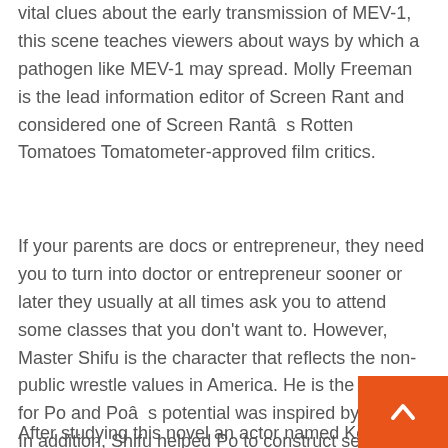vital clues about the early transmission of MEV-1, this scene teaches viewers about ways by which a pathogen like MEV-1 may spread. Molly Freeman is the lead information editor of Screen Rant and considered one of Screen Rantâs Rotten Tomatoes Tomatometer-approved film critics.
If your parents are docs or entrepreneur, they need you to turn into doctor or entrepreneur sooner or later they usually at all times ask you to attend some classes that you don’t want to. However, Master Shifu is the character that reflects the non-public wrestle values in America. He is the mentor for Po and Poâs potential was inspired by Shifu. In addition, Shifu helped Po to construct self-confidence by hold coaching him.
After studying this novel an actor named Kong Ye